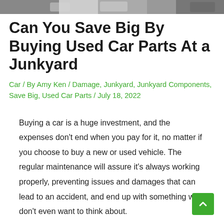[Figure (photo): Partial image of car parts or junkyard scene, cropped at top of page]
Can You Save Big By Buying Used Car Parts At a Junkyard
Car / By Amy Ken / Damage, Junkyard, Junkyard Components, Save Big, Used Car Parts / July 18, 2022
Buying a car is a huge investment, and the expenses don't end when you pay for it, no matter if you choose to buy a new or used vehicle. The regular maintenance will assure it's always working properly, preventing issues and damages that can lead to an accident, and end up with something we don't even want to think about.